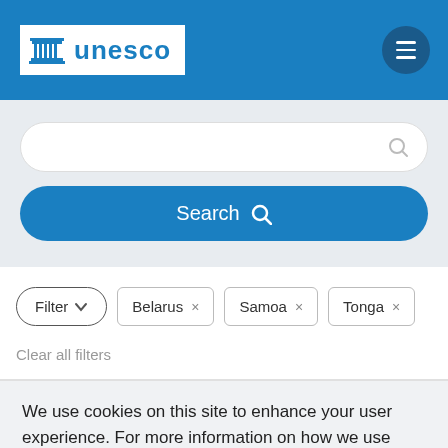[Figure (logo): UNESCO logo with temple building icon and 'unesco' text in blue on white background]
Search
Filter  Belarus ×  Samoa ×  Tonga ×
Clear all filters
We use cookies on this site to enhance your user experience. For more information on how we use